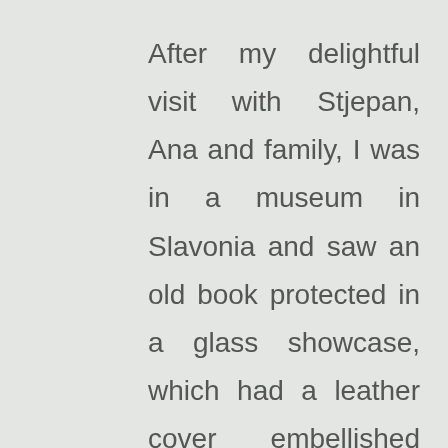After my delightful visit with Stjepan, Ana and family, I was in a museum in Slavonia and saw an old book protected in a glass showcase, which had a leather cover embellished with the same type of work that I had seen in Stjepan's workshop. The art of production of Slavonian leather vests like those that Stjepan